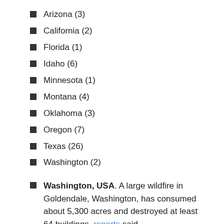Arizona (3)
California (2)
Florida (1)
Idaho (6)
Minnesota (1)
Montana (4)
Oklahoma (3)
Oregon (7)
Texas (26)
Washington (2)
Washington, USA. A large wildfire in Goldendale, Washington, has consumed about 5,300 acres and destroyed at least 64 buildings, reports said.
A firefighter described the fire as “a greased pig rodeo,” moving first in one direction, then another